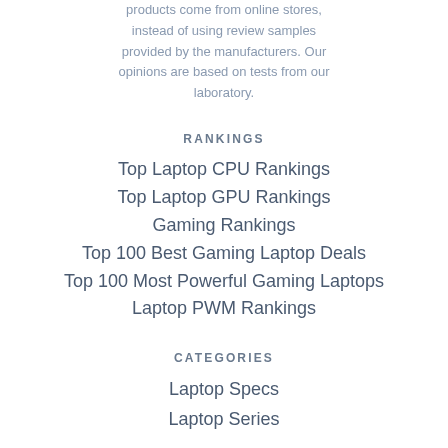products come from online stores, instead of using review samples provided by the manufacturers. Our opinions are based on tests from our laboratory.
RANKINGS
Top Laptop CPU Rankings
Top Laptop GPU Rankings
Gaming Rankings
Top 100 Best Gaming Laptop Deals
Top 100 Most Powerful Gaming Laptops
Laptop PWM Rankings
CATEGORIES
Laptop Specs
Laptop Series